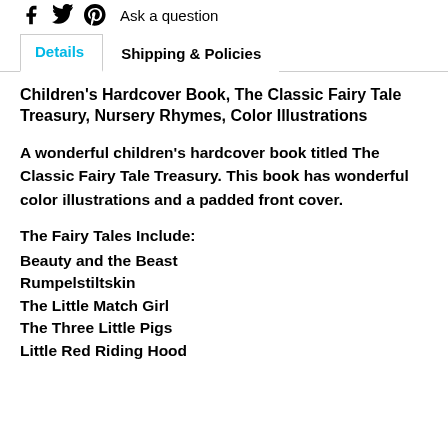Ask a question
Details | Shipping & Policies
Children’s Hardcover Book, The Classic Fairy Tale Treasury, Nursery Rhymes, Color Illustrations
A wonderful children’s hardcover book titled The Classic Fairy Tale Treasury. This book has wonderful color illustrations and a padded front cover.
The Fairy Tales Include:
Beauty and the Beast
Rumpelstiltskin
The Little Match Girl
The Three Little Pigs
Little Red Riding Hood